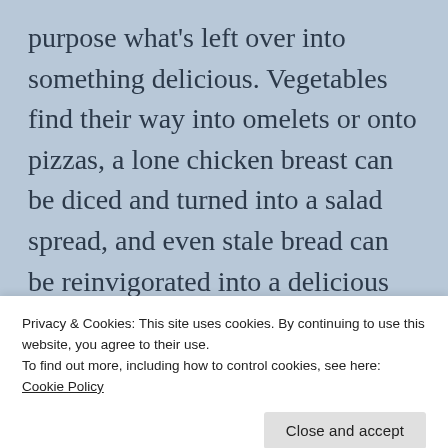purpose what's left over into something delicious. Vegetables find their way into omelets or onto pizzas, a lone chicken breast can be diced and turned into a salad spread, and even stale bread can be reinvigorated into a delicious dessert (soon, I'll share the recipe for my Gram's unmatchable bread
Privacy & Cookies: This site uses cookies. By continuing to use this website, you agree to their use.
To find out more, including how to control cookies, see here: Cookie Policy
Tuesday, more (but different) beans